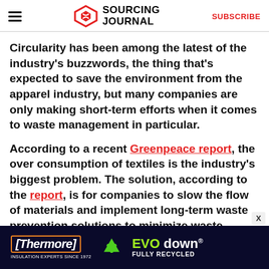SOURCING JOURNAL | SUBSCRIBE
Circularity has been among the latest of the industry's buzzwords, the thing that's expected to save the environment from the apparel industry, but many companies are only making short-term efforts when it comes to waste management in particular.
According to a recent Greenpeace report, the over consumption of textiles is the industry's biggest problem. The solution, according to the report, is for companies to slow the flow of materials and implement long-term waste prevention solutions to minimize waste altogether.
[Figure (other): Thermore EVO down advertisement banner: dark navy background with Thermore logo in orange border, recycling icon in green, and EVO down text in green/white with 'FULLY RECYCLED' subtitle]